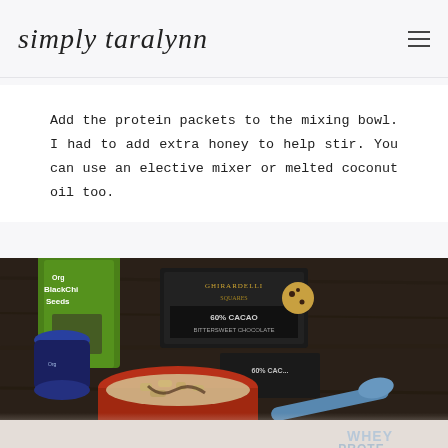simply taralynn
Add the protein packets to the mixing bowl. I had to add extra honey to help stir. You can use an elective mixer or melted coconut oil too.
[Figure (photo): Flat lay photo on a dark wooden table showing ingredients including a green bag of Organic Black Chia Seeds, a jar with blue lid, a Ghirardelli 60% Cacao bittersweet chocolate package, a red mixing bowl with cereal/oat contents, a blue measuring spoon, and partially visible Whey Protein package at bottom.]